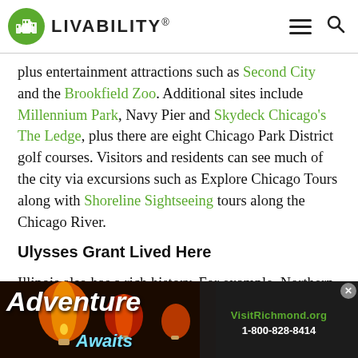LIVABILITY
plus entertainment attractions such as Second City and the Brookfield Zoo. Additional sites include Millennium Park, Navy Pier and Skydeck Chicago's The Ledge, plus there are eight Chicago Park District golf courses. Visitors and residents can see much of the city via excursions such as Explore Chicago Tours along with Shoreline Sightseeing tours along the Chicago River.
Ulysses Grant Lived Here
Illinois also has a rich history. For example, Northern Illinois has the post Civil War home of President Ulysse... State Park i...
[Figure (infographic): Advertisement overlay: 'Adventure Awaits' text with hot air balloons background, VisitRichmond.org, 1-800-828-8414]